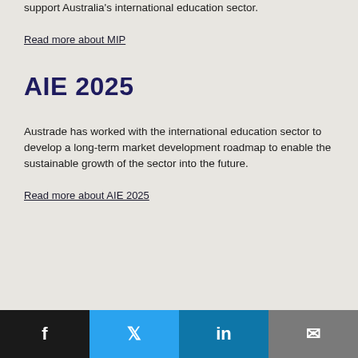support Australia's international education sector.
Read more about MIP
AIE 2025
Austrade has worked with the international education sector to develop a long-term market development roadmap to enable the sustainable growth of the sector into the future.
Read more about AIE 2025
Social share bar: Facebook, Twitter, LinkedIn, Email